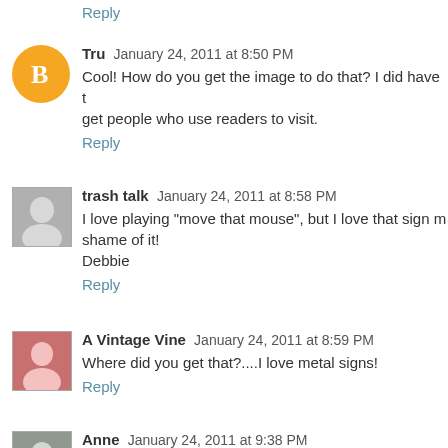Reply
Tru  January 24, 2011 at 8:50 PM
Cool! How do you get the image to do that? I did have t get people who use readers to visit.
Reply
trash talk  January 24, 2011 at 8:58 PM
I love playing "move that mouse", but I love that sign m shame of it!
Debbie
Reply
A Vintage Vine  January 24, 2011 at 8:59 PM
Where did you get that?....I love metal signs!
Reply
Anne  January 24, 2011 at 9:38 PM